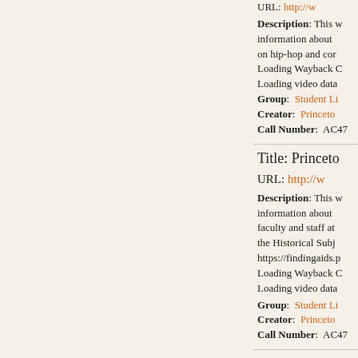URL: http://w...
Description: This w... information about... on hip-hop and cor... Loading Wayback C... Loading video data...
Group: Student Li...
Creator: Princeton...
Call Number: AC47...
Title: Princeto...
URL: http://ww...
Description: This w... information about... faculty and staff at... the Historical Subj... https://findingaids.p... Loading Wayback C... Loading video data...
Group: Student Li...
Creator: Princeton...
Call Number: AC47...
Title: Princeto...